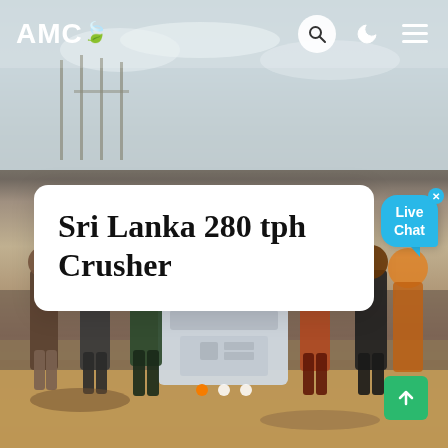AMC
[Figure (photo): Construction/industrial site with workers standing in front of a crusher machine. Background shows a partly cloudy sky, construction scaffolding, and sandy/earthy ground. Several workers in work clothes stand around a compact industrial crusher unit.]
Sri Lanka 280 tph Crusher
[Figure (other): Live Chat speech bubble widget in cyan/blue color with 'Live Chat' text and a close (x) button]